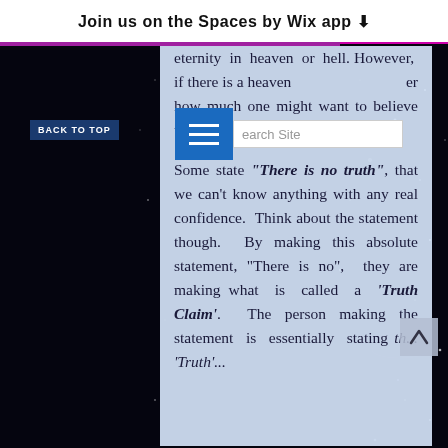Join us on the Spaces by Wix app ↓
eternity in heaven or hell. However, if there is a heaven ... er how much one might want to believe that there isn't.
Some state "There is no truth", that we can't know anything with any real confidence. Think about the statement though. By making this absolute statement, "There is no", they are making what is called a 'Truth Claim'. The person making the statement is essentially stating th... 'Truth'...